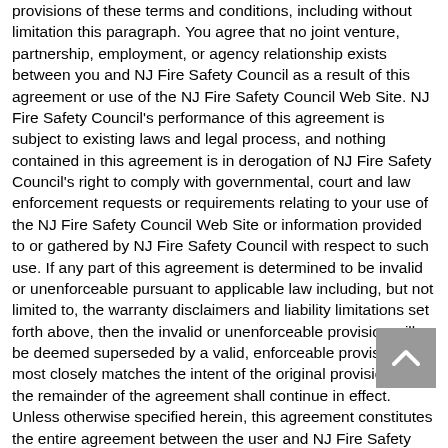provisions of these terms and conditions, including without limitation this paragraph. You agree that no joint venture, partnership, employment, or agency relationship exists between you and NJ Fire Safety Council as a result of this agreement or use of the NJ Fire Safety Council Web Site. NJ Fire Safety Council's performance of this agreement is subject to existing laws and legal process, and nothing contained in this agreement is in derogation of NJ Fire Safety Council's right to comply with governmental, court and law enforcement requests or requirements relating to your use of the NJ Fire Safety Council Web Site or information provided to or gathered by NJ Fire Safety Council with respect to such use. If any part of this agreement is determined to be invalid or unenforceable pursuant to applicable law including, but not limited to, the warranty disclaimers and liability limitations set forth above, then the invalid or unenforceable provision will be deemed superseded by a valid, enforceable provision that most closely matches the intent of the original provision and the remainder of the agreement shall continue in effect. Unless otherwise specified herein, this agreement constitutes the entire agreement between the user and NJ Fire Safety Council with respect to the NJ Fire Safety Council Web Site and it supersedes all prior or contemporaneous communications and proposals, whether electronic, oral or written, between the user and NJ Fire Safety Council with respect to the NJ Fire Safety Council Web Site. A printed version of this agreement and of any notice given in electronic form shall be admissible in